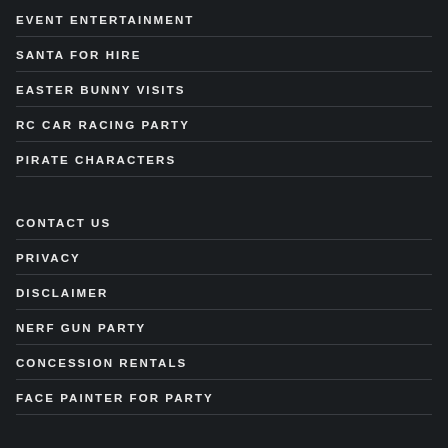EVENT ENTERTAINMENT
SANTA FOR HIRE
EASTER BUNNY VISITS
RC CAR RACING PARTY
PIRATE CHARACTERS
CONTACT US
PRIVACY
DISCLAIMER
NERF GUN PARTY
CONCESSION RENTALS
FACE PAINTER FOR PARTY